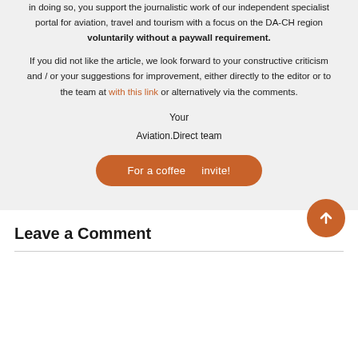In doing so, you support the journalistic work of our independent specialist portal for aviation, travel and tourism with a focus on the DA-CH region voluntarily without a paywall requirement.
If you did not like the article, we look forward to your constructive criticism and / or your suggestions for improvement, either directly to the editor or to the team at with this link or alternatively via the comments.
Your
Aviation.Direct team
[Figure (other): Orange rounded button with text 'For a coffee   invite!']
Leave a Comment